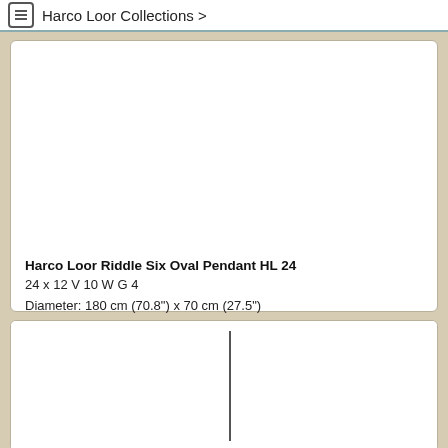Harco Loor Collections >
[Figure (photo): Empty white product image area for Harco Loor pendant lights]
Harco Loor Riddle Six Oval Pendant HL 24
24 x 12 V 10 W G 4
Diameter: 180 cm (70.8") x 70 cm (27.5")
Harco Loor Riddle Six Oval Pendant HL 30
30 x 12 V 10 W G 4
Diameter: 200 cm (78.7") x 70 cm (27.5")
[Figure (photo): Two side-by-side product image areas separated by a vertical divider line]